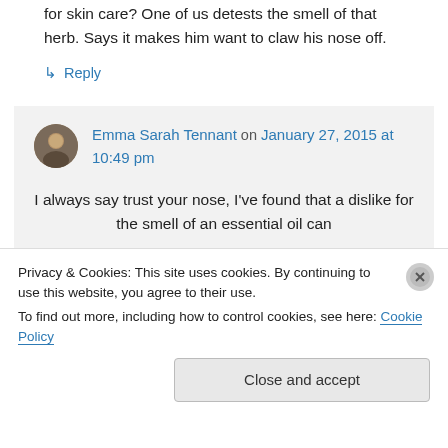for skin care? One of us detests the smell of that herb. Says it makes him want to claw his nose off.
↳ Reply
Emma Sarah Tennant on January 27, 2015 at 10:49 pm
I always say trust your nose, I've found that a dislike for the smell of an essential oil can
Privacy & Cookies: This site uses cookies. By continuing to use this website, you agree to their use.
To find out more, including how to control cookies, see here: Cookie Policy
Close and accept